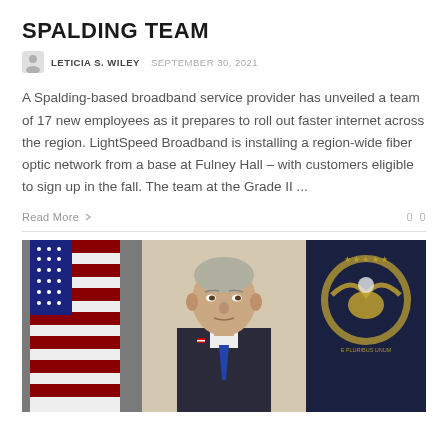SPALDING TEAM
LETICIA S. WILEY  SEPTEMBER 30, 2021
A Spalding-based broadband service provider has unveiled a team of 17 new employees as it prepares to roll out faster internet across the region. LightSpeed Broadband is installing a region-wide fiber optic network from a base at Fulney Hall – with customers eligible to sign up in the fall. The team at the Grade II ...
Read More  0  0
[Figure (photo): Photo of a man (President Biden) speaking at a podium, flanked by an American flag on the left and the Presidential seal flag on the right, in what appears to be a formal government room.]